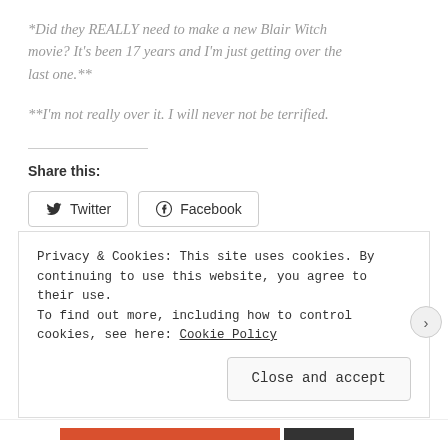*Did they REALLY need to make a new Blair Witch movie? It's been 17 years and I'm just getting over the last one.**
**I'm not really over it. I will never not be terrified.
Share this:
Twitter  Facebook
Privacy & Cookies: This site uses cookies. By continuing to use this website, you agree to their use.
To find out more, including how to control cookies, see here: Cookie Policy
Close and accept